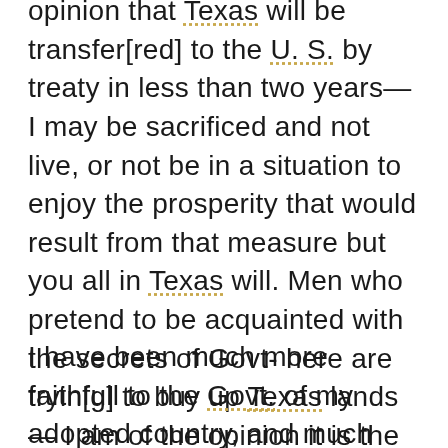opinion that Texas will be transfer[red] to the U. S. by treaty in less than two years— I may be sacrificed and not live, or not be in a situation to enjoy the prosperity that would result from that measure but you all in Texas will. Men who pretend to be acquainted with the secrets of Govt- here are tryin[g] to buy up Texas lands— I am of the opinion it is the best way money can be employed—
I have been much more faithfull to the Govt. of my adopted country, and much more frank and honest than my own interest or wellfare required, and I begin to think, more